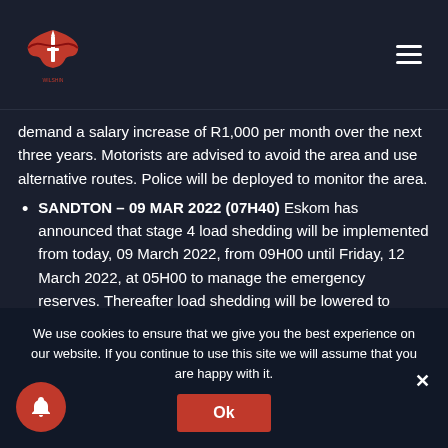Wilshin logo and hamburger menu
demand a salary increase of R1,000 per month over the next three years. Motorists are advised to avoid the area and use alternative routes. Police will be deployed to monitor the area.
SANDTON – 09 MAR 2022 (07H40) Eskom has announced that stage 4 load shedding will be implemented from today, 09 March 2022, from 09H00 until Friday, 12 March 2022, at 05H00 to manage the emergency reserves. Thereafter load shedding will be lowered to stage 2 until 05H00 on Monday, 24 March 2022. Eskom stated that a unit
We use cookies to ensure that we give you the best experience on our website. If you continue to use this site we will assume that you are happy with it.